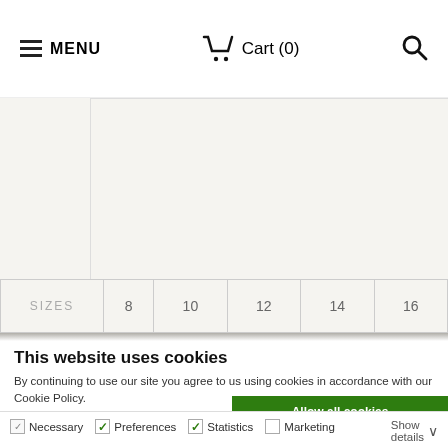≡ MENU  🛒 Cart (0)  🔍
| SIZES | 8 | 10 | 12 | 14 | 16 |
| --- | --- | --- | --- | --- | --- |
This website uses cookies
By continuing to use our site you agree to us using cookies in accordance with our Cookie Policy.
Allow all cookies
Allow selection
Use necessary cookies only
Necessary  ✓ Preferences  ✓ Statistics  □ Marketing  Show details ∨